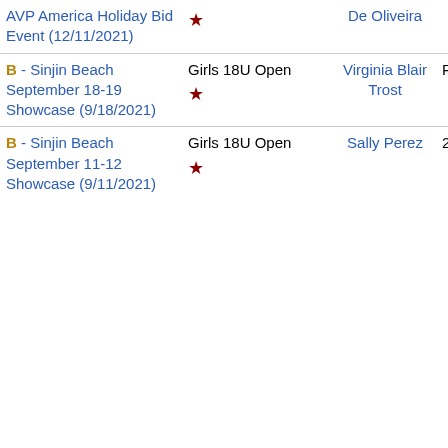| Event | Category | Player | Rank | Points |
| --- | --- | --- | --- | --- |
| AVP America Holiday Bid Event (12/11/2021) | ★ | De Oliveira |  |  |
| B - Sinjin Beach September 18-19 Showcase (9/18/2021) | Girls 18U Open ★ | Virginia Blair Trost | RO | 61.00 |
| B - Sinjin Beach September 11-12 Showcase (9/11/2021) | Girls 18U Open ★ | Sally Perez | 2nd | 791.00 |